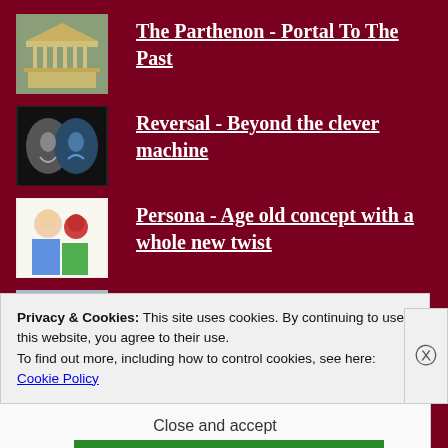The Parthenon - Portal To The Past
Reversal - Beyond the clever machine
Persona - Age old concept with a whole new twist
About
Persephone - What can we learn for her plight?
Privacy & Cookies: This site uses cookies. By continuing to use this website, you agree to their use.
To find out more, including how to control cookies, see here: Cookie Policy
Close and accept